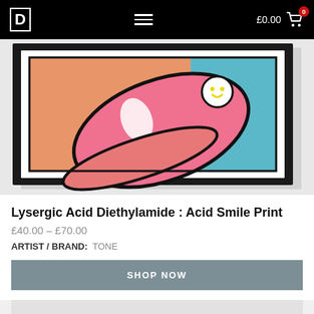D  ≡  £0.00  🛒 0
[Figure (illustration): Framed pop-art print showing a large tongue sticking out with a smiley face pill on it, against an orange and teal background, in a black frame with white matte.]
Lysergic Acid Diethylamide : Acid Smile Print
£40.00 – £70.00
ARTIST / BRAND:  TONE
SHOP NOW